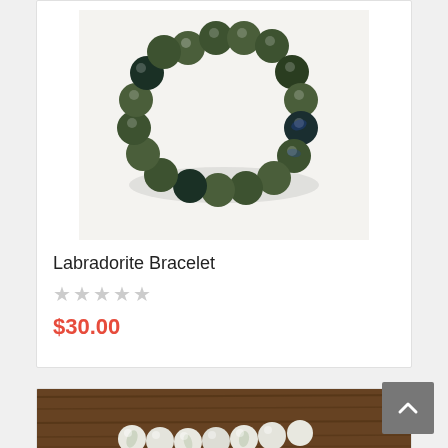[Figure (photo): Photo of a Labradorite Bracelet made of dark olive-green beads arranged in a circle on a white background]
Labradorite Bracelet
★★★★★ (empty stars rating)
$30.00
[Figure (photo): Photo of a white/grey beaded bracelet on a dark wooden background]